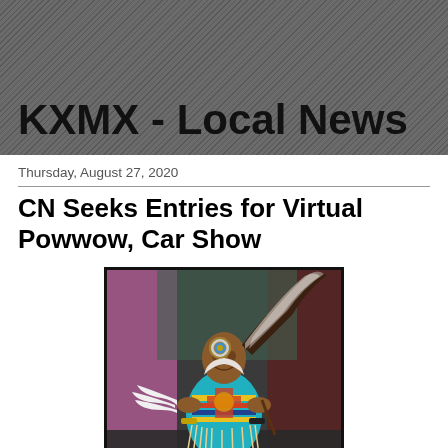KXMX - Local News
Thursday, August 27, 2020
CN Seeks Entries for Virtual Powwow, Car Show
[Figure (photo): A young Native American dancer in traditional regalia including feathered headdress, colorful beaded outfit, and white feather accessories, performing at a powwow.]